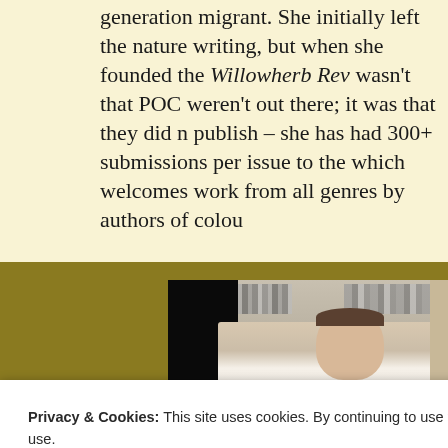generation migrant. She initially left the nature writing, but when she founded the Willowherb Review wasn't that POC weren't out there; it was that they did not publish – she has had 300+ submissions per issue to the which welcomes work from all genres by authors of colour.
[Figure (screenshot): Video call screenshot showing a man in a white shirt with bookshelves in background, overlaid on a golden/olive colored background panel. A partial view of another participant is visible in the lower portion.]
Privacy & Cookies: This site uses cookies. By continuing to use this website, you agree to their use.
To find out more, including how to control cookies, see here: Cookie Policy
Also on the panel were Mara Arshi, a Punjabi poet b...